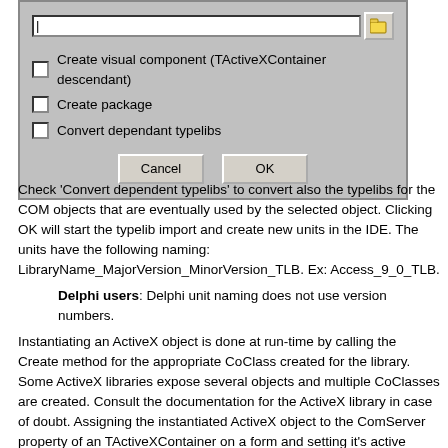[Figure (screenshot): Dialog box with a text input field, folder browse button, three unchecked checkboxes labeled 'Create visual component (TActiveXContainer descendant)', 'Create package', 'Convert dependant typelibs', and Cancel/OK buttons.]
Check 'Convert dependent typelibs' to convert also the typelibs for the COM objects that are eventually used by the selected object. Clicking OK will start the typelib import and create new units in the IDE. The units have the following naming: LibraryName_MajorVersion_MinorVersion_TLB. Ex: Access_9_0_TLB.
Delphi users: Delphi unit naming does not use version numbers.
Instantiating an ActiveX object is done at run-time by calling the Create method for the appropriate CoClass created for the library. Some ActiveX libraries expose several objects and multiple CoClasses are created. Consult the documentation for the ActiveX library in case of doubt. Assigning the instantiated ActiveX object to the ComServer property of an TActiveXContainer on a form and setting it's active property to true is all that is needed to embed it in the application.
Example: Embed VLC player in a form. VLC has to be installed !!